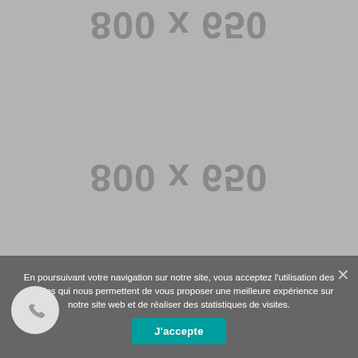[Figure (illustration): Grey placeholder image with mirrored/flipped '800 x 650' watermark text, shown twice at top and bottom of image area]
En poursuivant votre navigation sur notre site, vous acceptez l'utilisation des cookies qui nous permettent de vous proposer une meilleure expérience sur notre site web et de réaliser des statistiques de visites.
J'accepte